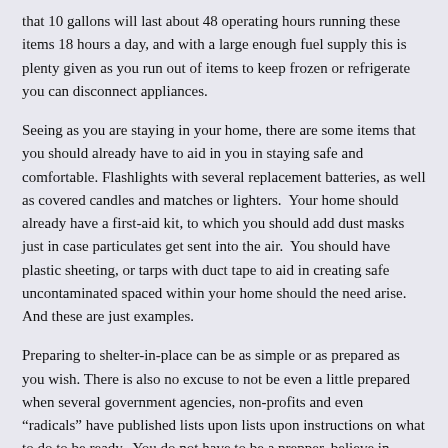that 10 gallons will last about 48 operating hours running these items 18 hours a day, and with a large enough fuel supply this is plenty given as you run out of items to keep frozen or refrigerate you can disconnect appliances.
Seeing as you are staying in your home, there are some items that you should already have to aid in you in staying safe and comfortable. Flashlights with several replacement batteries, as well as covered candles and matches or lighters.  Your home should already have a first-aid kit, to which you should add dust masks just in case particulates get sent into the air.  You should have plastic sheeting, or tarps with duct tape to aid in creating safe uncontaminated spaced within your home should the need arise.  And these are just examples.
Preparing to shelter-in-place can be as simple or as prepared as you wish. There is also no excuse to not be even a little prepared when several government agencies, non-profits and even “radicals” have published lists upon lists upon instructions on what to do to be ready.  You do not have to be a prepper, believe in zombies or fear the government to be ready.  You just have to recognize that disasters have already happened, and will happen again.  If you have done nothing else, go to READY and read what they